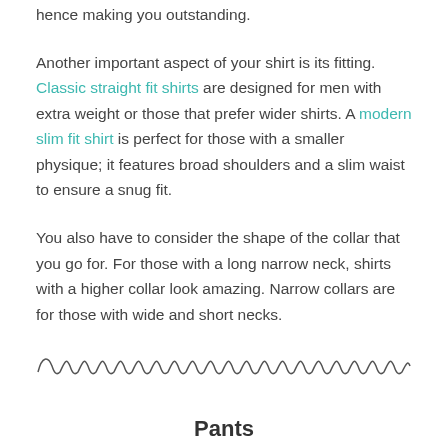hence making you outstanding.
Another important aspect of your shirt is its fitting. Classic straight fit shirts are designed for men with extra weight or those that prefer wider shirts. A modern slim fit shirt is perfect for those with a smaller physique; it features broad shoulders and a slim waist to ensure a snug fit.
You also have to consider the shape of the collar that you go for. For those with a long narrow neck, shirts with a higher collar look amazing. Narrow collars are for those with wide and short necks.
[Figure (illustration): Decorative wavy/cursive line divider spanning the width of the page]
Pants